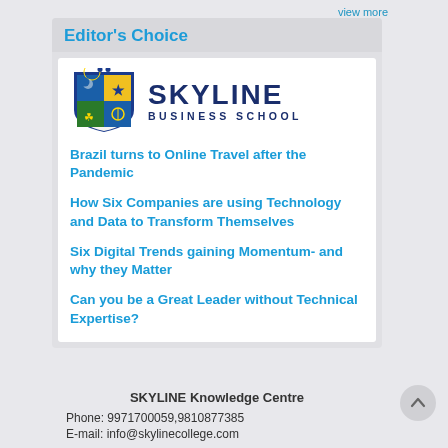view more
Editor's Choice
[Figure (logo): Skyline Business School logo — shield crest on the left, text 'SKYLINE BUSINESS SCHOOL' on the right in dark navy blue]
Brazil turns to Online Travel after the Pandemic
How Six Companies are using Technology and Data to Transform Themselves
Six Digital Trends gaining Momentum- and why they Matter
Can you be a Great Leader without Technical Expertise?
SKYLINE Knowledge Centre
Phone: 9971700059,9810877385
E-mail: info@skylinecollege.com